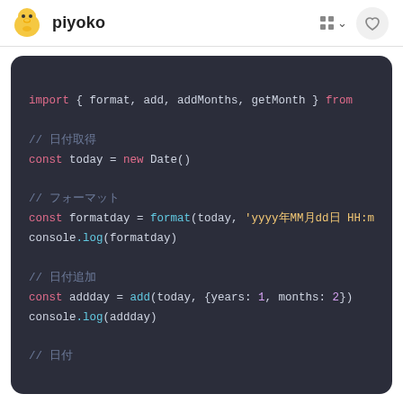piyoko
[Figure (screenshot): Code editor screenshot showing JavaScript code using date-fns library: import statement, const today = new Date(), const formatday = format(today, 'yyyy年MM月dd日 HH:m...'), console.log(formatday), const addday = add(today, {years: 1, months: 2}), console.log(addday), and a comment line // 日付取得]